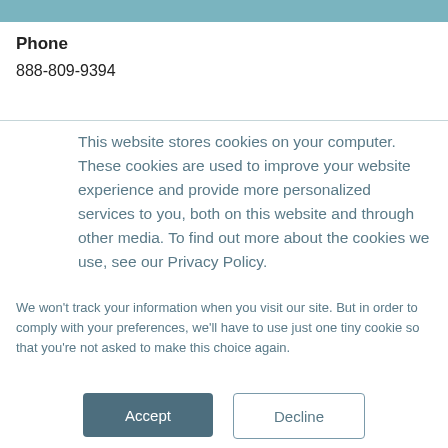Phone
888-809-9394
This website stores cookies on your computer. These cookies are used to improve your website experience and provide more personalized services to you, both on this website and through other media. To find out more about the cookies we use, see our Privacy Policy.
We won't track your information when you visit our site. But in order to comply with your preferences, we'll have to use just one tiny cookie so that you're not asked to make this choice again.
Accept  Decline